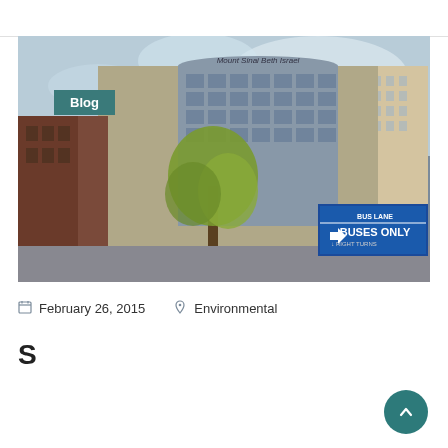[Figure (photo): Street-level photograph of Mount Sinai Beth Israel hospital building, a tall curved glass and concrete tower, with trees in foreground, adjacent brick buildings, and a blue BUS LANE / BUSES ONLY street sign in the lower right. A teal 'Blog' badge overlays the top-left corner of the image.]
February 26, 2015   Environmental